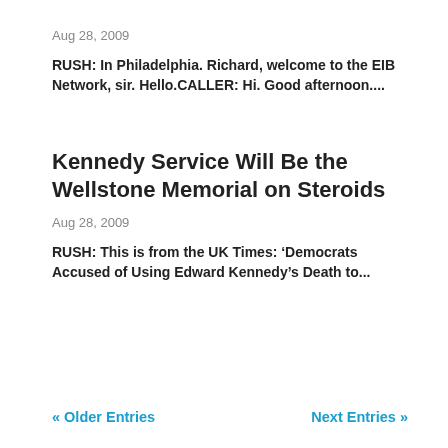Aug 28, 2009
RUSH: In Philadelphia. Richard, welcome to the EIB Network, sir. Hello.CALLER: Hi. Good afternoon....
Kennedy Service Will Be the Wellstone Memorial on Steroids
Aug 28, 2009
RUSH: This is from the UK Times: ‘Democrats Accused of Using Edward Kennedy’s Death to...
« Older Entries    Next Entries »